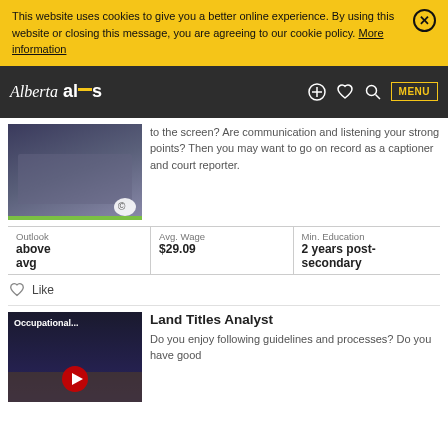This website uses cookies to give you a better online experience. By using this website or closing this message, you are agreeing to our cookie policy. More information
[Figure (screenshot): Alberta ALIS website navigation bar with logo, icons (plus, heart, search) and MENU button on dark background]
[Figure (photo): Person working at laptop, partially visible, with copyright badge and green bar at bottom]
to the screen? Are communication and listening your strong points? Then you may want to go on record as a captioner and court reporter.
| Outlook | Avg. Wage | Min. Education |
| --- | --- | --- |
| above avg | $29.09 | 2 years post-secondary |
Like
[Figure (screenshot): Video thumbnail with 'Occupational...' label and play button]
Land Titles Analyst
Do you enjoy following guidelines and processes? Do you have good